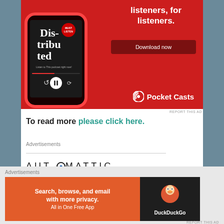[Figure (illustration): Pocket Casts advertisement banner showing a smartphone with the Pocket Casts app open displaying 'Distributed' podcast. Red background with white bold text 'listeners, for listeners.' and a 'Download now' button. Pocket Casts logo in bottom right.]
REPORT THIS AD
To read more please click here.
Advertisements
[Figure (logo): Automattic logo in dark text with stylized 'O' containing a blue dot]
Advertisements
[Figure (illustration): DuckDuckGo advertisement: orange left panel with 'Search, browse, and email with more privacy. All in One Free App' text, dark right panel with DuckDuckGo logo and text]
REPORT THIS AD